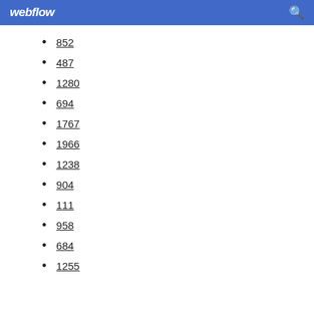webflow
852
487
1280
694
1767
1966
1238
904
111
958
684
1255